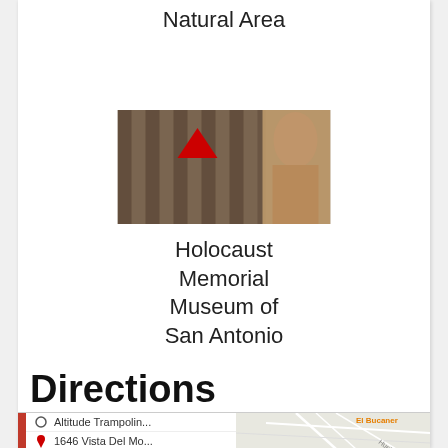Natural Area
[Figure (photo): Photograph showing a striped concentration camp uniform with a red triangle badge, and a person visible in the background]
Holocaust Memorial Museum of San Antonio
Directions
[Figure (map): Google Maps screenshot showing directions from Altitude Trampolin... to 1646 Vista Del Mo..., with El Bucanero and Huebner Rd visible on the map]